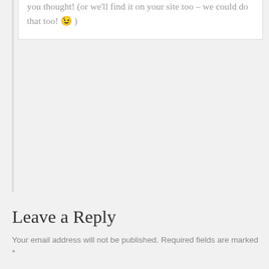you thought! (or we'll find it on your site too – we could do that too! 😉 )
Leave a Reply
Your email address will not be published. Required fields are marked *
Comment